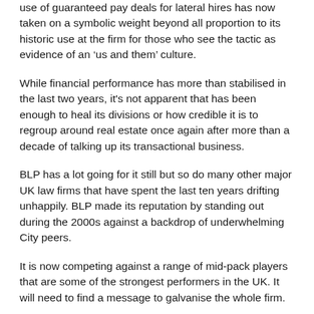use of guaranteed pay deals for lateral hires has now taken on a symbolic weight beyond all proportion to its historic use at the firm for those who see the tactic as evidence of an ‘us and them’ culture.
While financial performance has more than stabilised in the last two years, it's not apparent that has been enough to heal its divisions or how credible it is to regroup around real estate once again after more than a decade of talking up its transactional business.
BLP has a lot going for it still but so do many other major UK law firms that have spent the last ten years drifting unhappily. BLP made its reputation by standing out during the 2000s against a backdrop of underwhelming City peers.
It is now competing against a range of mid-pack players that are some of the strongest performers in the UK. It will need to find a message to galvanise the whole firm.